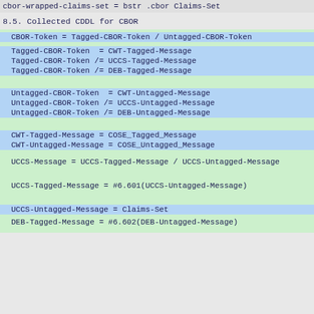cbor-wrapped-claims-set = bstr .cbor Claims-Set
8.5.  Collected CDDL for CBOR
CBOR-Token = Tagged-CBOR-Token / Untagged-CBOR-Token
Tagged-CBOR-Token  = CWT-Tagged-Message
Tagged-CBOR-Token /= UCCS-Tagged-Message
Tagged-CBOR-Token /= DEB-Tagged-Message
Untagged-CBOR-Token  = CWT-Untagged-Message
Untagged-CBOR-Token /= UCCS-Untagged-Message
Untagged-CBOR-Token /= DEB-Untagged-Message
CWT-Tagged-Message = COSE_Tagged_Message
CWT-Untagged-Message = COSE_Untagged_Message
UCCS-Message = UCCS-Tagged-Message / UCCS-Untagged-Message
UCCS-Tagged-Message = #6.601(UCCS-Untagged-Message)
UCCS-Untagged-Message = Claims-Set
DEB-Tagged-Message = #6.602(DEB-Untagged-Message)